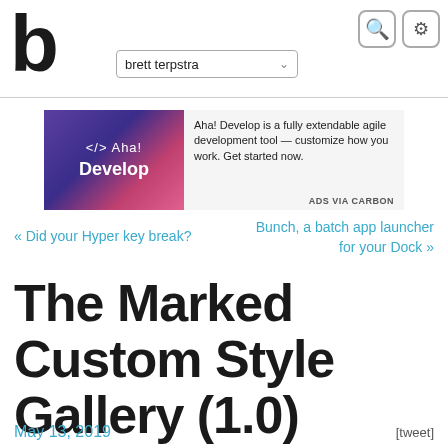b  brett terpstra
[Figure (infographic): Aha! Develop advertisement banner. Purple gradient image on left with '</> Aha! Develop' text. Right side: 'Aha! Develop is a fully extendable agile development tool — customize how you work. Get started now.' ADS VIA CARBON label.]
« Did your Hyper key break?
Bunch, a batch app launcher for your Dock »
The Marked Custom Style Gallery (1.0)
May 13, 2019  [tweet]